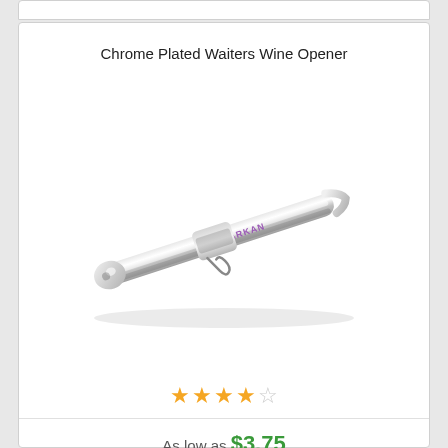Chrome Plated Waiters Wine Opener
[Figure (photo): Chrome plated waiter's wine opener / corkscrew with BARKAN branding, shown at an angle against white background]
★★★★☆
As low as $3.75
7/8 " x 4 5/8 " x 1/2 "